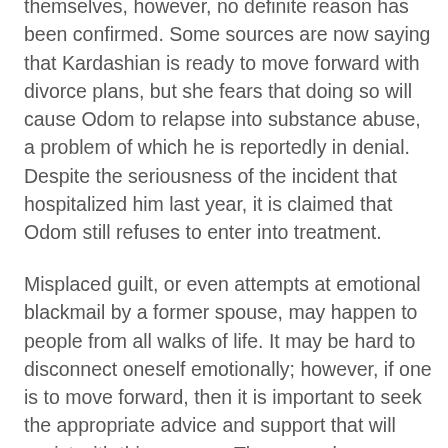themselves, however, no definite reason has been confirmed. Some sources are now saying that Kardashian is ready to move forward with divorce plans, but she fears that doing so will cause Odom to relapse into substance abuse, a problem of which he is reportedly in denial. Despite the seriousness of the incident that hospitalized him last year, it is claimed that Odom still refuses to enter into treatment.
Misplaced guilt, or even attempts at emotional blackmail by a former spouse, may happen to people from all walks of life. It may be hard to disconnect oneself emotionally; however, if one is to move forward, then it is important to seek the appropriate advice and support that will assist with this process. There may be many reasons for a delay in divorce proceedings, but California residents